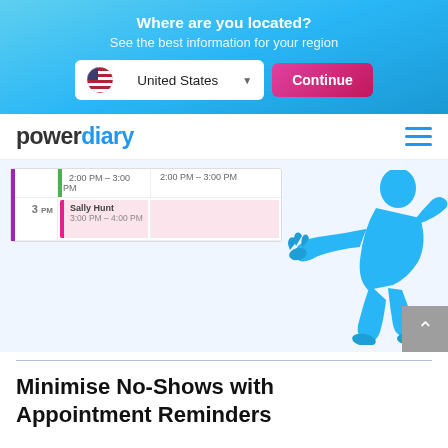Where are you located? See the best information for your region
[Figure (screenshot): Location selector banner with United States dropdown and Continue button]
[Figure (logo): Power Diary logo with hamburger menu]
[Figure (screenshot): Calendar scheduling UI snippet showing appointment slots at 2:00 PM - 3:00 PM and Sally Hunt 3:00 PM - 4:00 PM, with a blue illustrated hand/person pointing]
Minimise No-Shows with Appointment Reminders